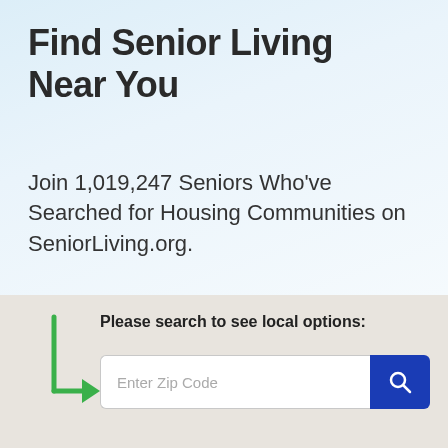Find Senior Living Near You
Join 1,019,247 Seniors Who've Searched for Housing Communities on SeniorLiving.org.
Please search to see local options:
[Figure (screenshot): Search box with green arrow pointing to zip code input field and blue search button with magnifying glass icon]